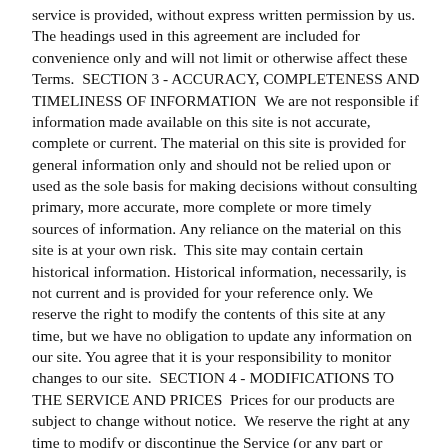service is provided, without express written permission by us.  The headings used in this agreement are included for convenience only and will not limit or otherwise affect these Terms.  SECTION 3 - ACCURACY, COMPLETENESS AND TIMELINESS OF INFORMATION  We are not responsible if information made available on this site is not accurate, complete or current. The material on this site is provided for general information only and should not be relied upon or used as the sole basis for making decisions without consulting primary, more accurate, more complete or more timely sources of information. Any reliance on the material on this site is at your own risk.  This site may contain certain historical information. Historical information, necessarily, is not current and is provided for your reference only. We reserve the right to modify the contents of this site at any time, but we have no obligation to update any information on our site. You agree that it is your responsibility to monitor changes to our site.  SECTION 4 - MODIFICATIONS TO THE SERVICE AND PRICES  Prices for our products are subject to change without notice.  We reserve the right at any time to modify or discontinue the Service (or any part or content thereof) without notice at any time.  We shall not be